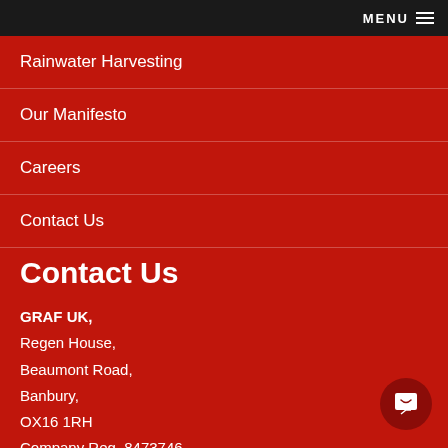MENU
Rainwater Harvesting
Our Manifesto
Careers
Contact Us
Contact Us
GRAF UK,
Regen House,
Beaumont Road,
Banbury,
OX16 1RH
Company Reg. 8473746